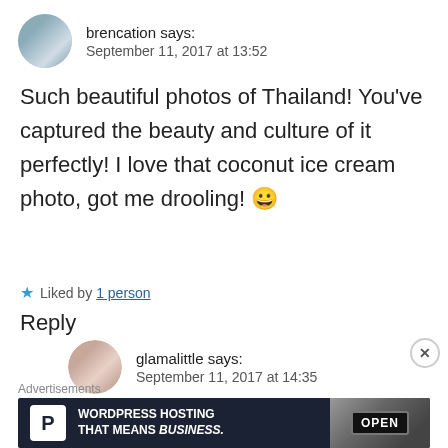brencation says:
September 11, 2017 at 13:52
Such beautiful photos of Thailand! You've captured the beauty and culture of it perfectly! I love that coconut ice cream photo, got me drooling! 😀
★ Liked by 1 person
Reply
glamalittle says:
September 11, 2017 at 14:35
Thank you! ❤️ Thailand is indeed –
Advertisements
[Figure (screenshot): WordPress Hosting advertisement banner with dark background, WordPress logo P, text 'WORDPRESS HOSTING THAT MEANS BUSINESS.' and photo of an OPEN sign]